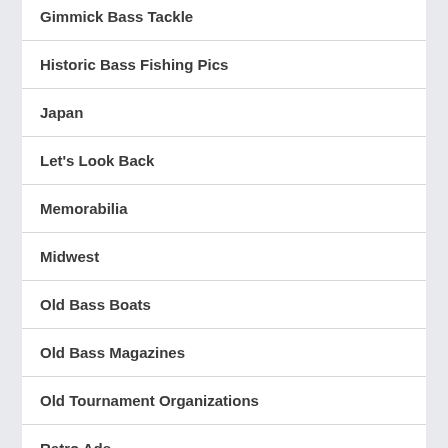Gimmick Bass Tackle
Historic Bass Fishing Pics
Japan
Let's Look Back
Memorabilia
Midwest
Old Bass Boats
Old Bass Magazines
Old Tournament Organizations
Retro Ads